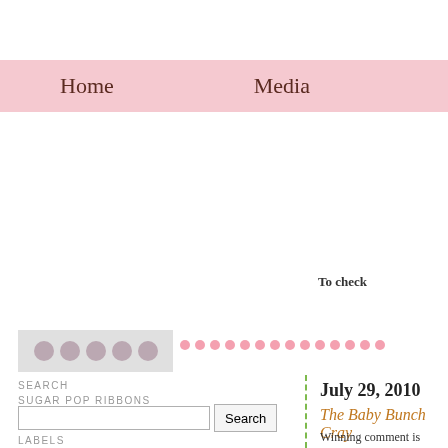Home    Media
To check
SEARCH
SUGAR POP RIBBONS
LABELS
A Man's Point of View (5)
Baby (211)
July 29, 2010
The Baby Bunch Cray
Winning comment is #135!